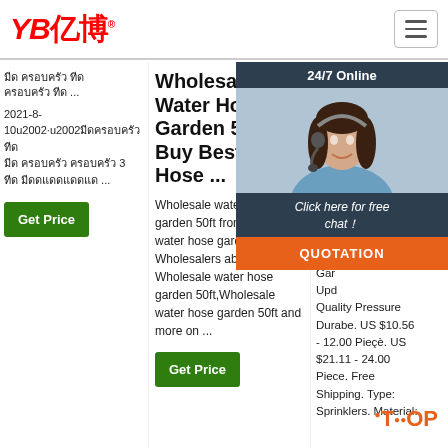YB亿博 logo and navigation
Thai/Arabic script title text ... 2021-8-10u2002·u2002 mixed script content 3 ... Get Price
Wholesale Water Hose Garden 50ft- Buy Best Water Hose ...
Wholesale water hose garden 50ft from China water hose garden 50ft Wholesalers about Wholesale water hose garden 50ft,Wholesale water hose garden 50ft and more on ...
Wh Ga Bu Bu Ch
Gar Noz Hos Mul Gar Upd Quality Pressure Durabe. US $10.56 - 12.00 Piece. US $21.11 - 24.00 Piece. Free Shipping. Type: Sprinklers. Material:
[Figure (screenshot): Customer service chat widget with 24/7 Online header, female agent photo with headset, 'Click here for free chat!' text, and QUOTATION orange button]